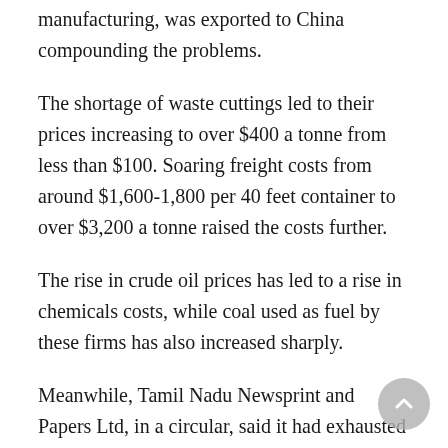manufacturing, was exported to China compounding the problems.
The shortage of waste cuttings led to their prices increasing to over $400 a tonne from less than $100. Soaring freight costs from around $1,600-1,800 per 40 feet container to over $3,200 a tonne raised the costs further.
The rise in crude oil prices has led to a rise in chemicals costs, while coal used as fuel by these firms has also increased sharply.
Meanwhile, Tamil Nadu Newsprint and Papers Ltd, in a circular, said it had exhausted its entire inventory